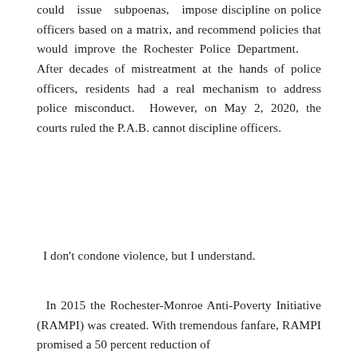could issue subpoenas, impose discipline on police officers based on a matrix, and recommend policies that would improve the Rochester Police Department.  After decades of mistreatment at the hands of police officers, residents had a real mechanism to address police misconduct.  However, on May 2, 2020, the courts ruled the P.A.B. cannot discipline officers.
I don't condone violence, but I understand.
In 2015 the Rochester-Monroe Anti-Poverty Initiative (RAMPI) was created. With tremendous fanfare, RAMPI promised a 50 percent reduction of